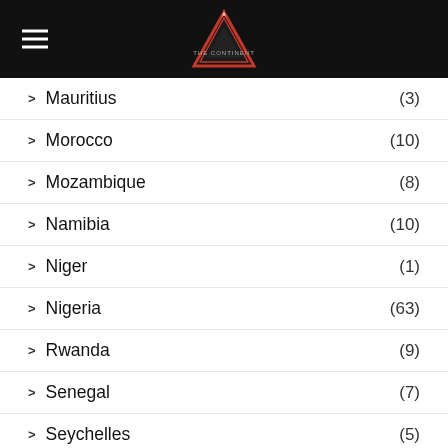The Continent (navigation header with logo)
Mauritius (3)
Morocco (10)
Mozambique (8)
Namibia (10)
Niger (1)
Nigeria (63)
Rwanda (9)
Senegal (7)
Seychelles (5)
Sierra Leone (2)
Somalia
South Africa (63)
South Sudan (5)